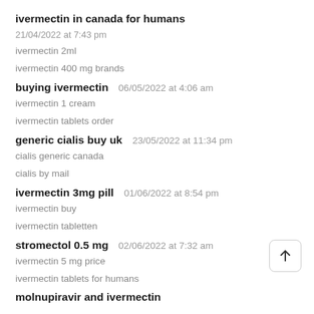ivermectin in canada for humans
21/04/2022 at 7:43 pm
ivermectin 2ml
ivermectin 400 mg brands
buying ivermectin
06/05/2022 at 4:06 am
ivermectin 1 cream
ivermectin tablets order
generic cialis buy uk
23/05/2022 at 11:34 pm
cialis generic canada
cialis by mail
ivermectin 3mg pill
01/06/2022 at 8:54 pm
ivermectin buy
ivermectin tabletten
stromectol 0.5 mg
02/06/2022 at 7:32 am
ivermectin 5 mg price
ivermectin tablets for humans
molnupiravir and ivermectin